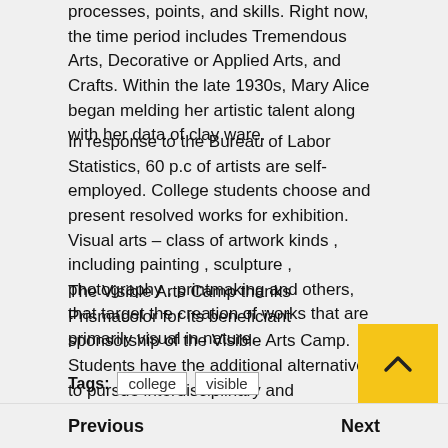processes, points, and skills. Right now, the time period includes Tremendous Arts, Decorative or Applied Arts, and Crafts. Within the late 1930s, Mary Alice began melding her artistic talent along with her data of clay ware.
In response to the Bureau of Labor Statistics, 60 p.c of artists are self-employed. College students choose and present resolved works for exhibition. Visual arts – class of artwork kinds , including painting , sculpture , photography , printmaking and others, that target the creation of works that are primarily visual in nature.
The Visible Arts Camp thanks Prismacolor for its beneficiant sponsorship of the Visible Arts Camp. Students have the additional alternative to pursue interdisciplinary and collaborative work throughout the Faculty of the Arts, in addition to the University at la
Tags: college visible
Previous    Next